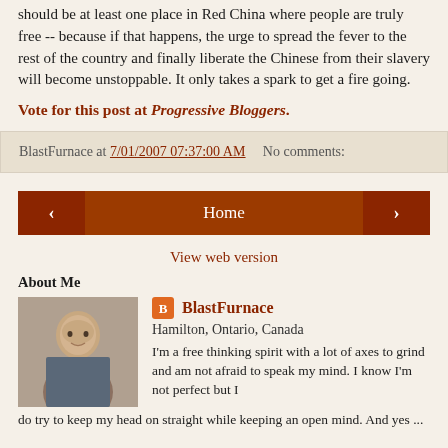should be at least one place in Red China where people are truly free -- because if that happens, the urge to spread the fever to the rest of the country and finally liberate the Chinese from their slavery will become unstoppable. It only takes a spark to get a fire going.
Vote for this post at Progressive Bloggers.
BlastFurnace at 7/01/2007 07:37:00 AM    No comments:
< Home >
View web version
About Me
BlastFurnace
Hamilton, Ontario, Canada
I'm a free thinking spirit with a lot of axes to grind and am not afraid to speak my mind. I know I'm not perfect but I do try to keep my head on straight while keeping an open mind. And yes ...